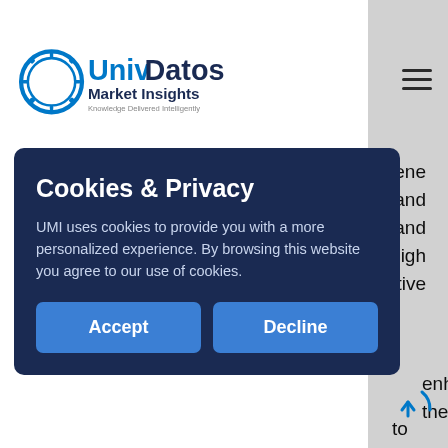UnivDatos Market Insights
period. PE pipes such as High Polyethylene (HDPE) pipes are mainly used in the oil and gas industries due to their ability to withstand demanding service conditions such as high corrosion resistivity and zero reactive properties, and long service periods. So, with
enhances the
to increase
Thermoplastic
hrough –
plastic-
on the market is categorized into
[Figure (other): Cookies & Privacy modal overlay with Accept and Decline buttons on a dark navy background. Title: 'Cookies & Privacy'. Body: 'UMI uses cookies to provide you with a more personalized experience. By browsing this website you agree to our use of cookies.' Buttons: Accept, Decline.]